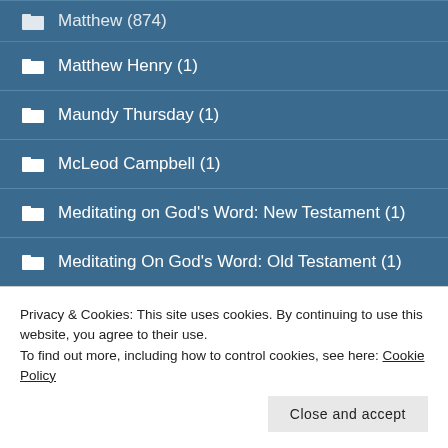Matthew (874)
Matthew Henry (1)
Maundy Thursday (1)
McLeod Campbell (1)
Meditating on God's Word: New Testament (1)
Meditating On God's Word: Old Testament (1)
Micah (27)
Privacy & Cookies: This site uses cookies. By continuing to use this website, you agree to their use.
To find out more, including how to control cookies, see here: Cookie Policy
Nahum (15)